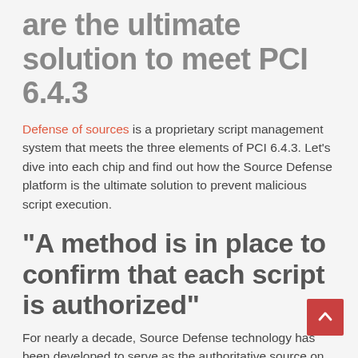are the ultimate solution to meet PCI 6.4.3
Defense of sources is a proprietary script management system that meets the three elements of PCI 6.4.3. Let’s dive into each chip and find out how the Source Defense platform is the ultimate solution to prevent malicious script execution.
“A method is in place to confirm that each script is authorized”
For nearly a decade, Source Defense technology has been developed to serve as the authoritative source on client-side attacks such as magecart, formjacking,